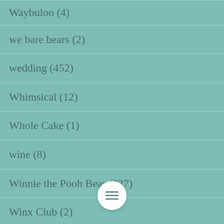Waybuloo (4)
we bare bears (2)
wedding (452)
Whimsical (12)
Whole Cake (1)
wine (8)
Winnie the Pooh Bear (227)
Winx Club (2)